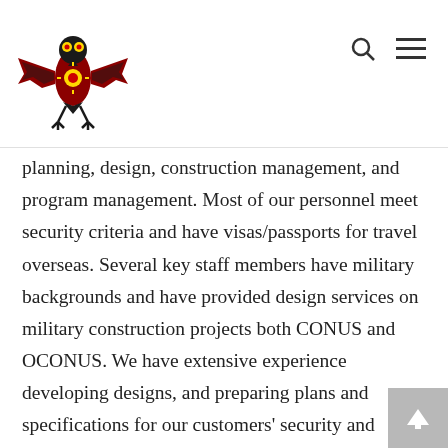[Figure (logo): Stylized thunderbird logo in red, black, and yellow with spread wings]
Navigation header with logo, search icon, and menu icon
planning, design, construction management, and program management. Most of our personnel meet security criteria and have visas/passports for travel overseas. Several key staff members have military backgrounds and have provided design services on military construction projects both CONUS and OCONUS. We have extensive experience developing designs, and preparing plans and specifications for our customers’ security and energy projects. We have designed numerous physical protection systems ranging from physical hardening to event-driven integrated electronic security systems, utilizing video analytics, various forms of intrusion detection, and advanced access-control technologies. We understand